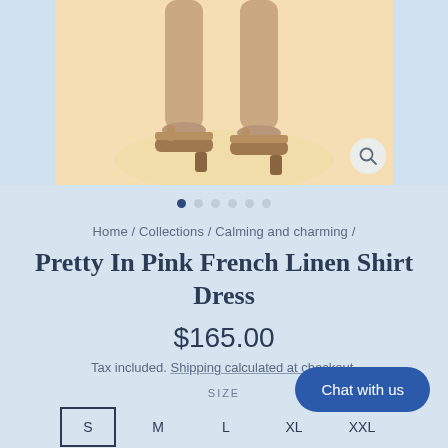[Figure (photo): Lower legs and feet of a woman wearing beige block-heel sandals, on a warm cream/tan background. Side strips are light blue.]
Home / Collections / Calming and charming /
Pretty In Pink French Linen Shirt Dress
$165.00
Tax included. Shipping calculated at checkout.
SIZE
S  M  L  XL  XXL